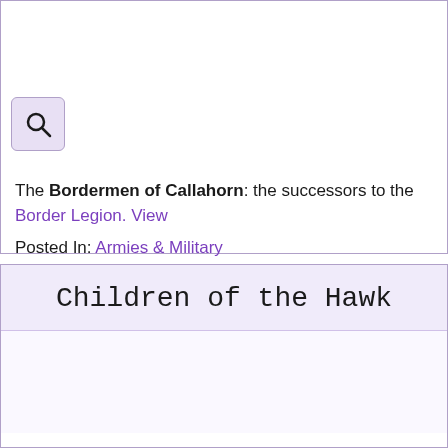[Figure (other): Search icon button — magnifying glass on light purple background]
The Bordermen of Callahorn: the successors to the Border Legion. View
Posted In: Armies & Military
Children of the Hawk